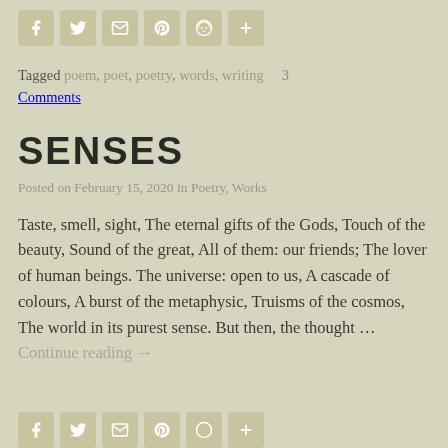[Figure (infographic): Row of social sharing icon buttons: Facebook, Twitter, Email, Pinterest, Reddit, Plus]
Tagged poem, poet, poetry, words, writing   3 Comments
SENSES
Posted on February 15, 2020 in Poetry, Works
Taste, smell, sight, The eternal gifts of the Gods, Touch of the beauty, Sound of the great, All of them: our friends; The lover of human beings. The universe: open to us, A cascade of colours, A burst of the metaphysic, Truisms of the cosmos, The world in its purest sense. But then, the thought … Continue reading →
[Figure (infographic): Row of social sharing icon buttons at bottom: Facebook, Twitter, Email, Pinterest, Reddit, Plus (partially cut off)]